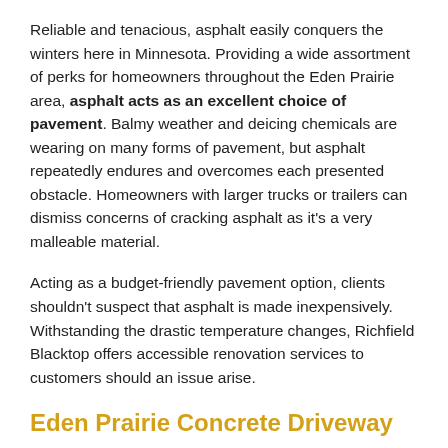Reliable and tenacious, asphalt easily conquers the winters here in Minnesota. Providing a wide assortment of perks for homeowners throughout the Eden Prairie area, asphalt acts as an excellent choice of pavement. Balmy weather and deicing chemicals are wearing on many forms of pavement, but asphalt repeatedly endures and overcomes each presented obstacle. Homeowners with larger trucks or trailers can dismiss concerns of cracking asphalt as it's a very malleable material.
Acting as a budget-friendly pavement option, clients shouldn't suspect that asphalt is made inexpensively. Withstanding the drastic temperature changes, Richfield Blacktop offers accessible renovation services to customers should an issue arise.
Eden Prairie Concrete Driveway